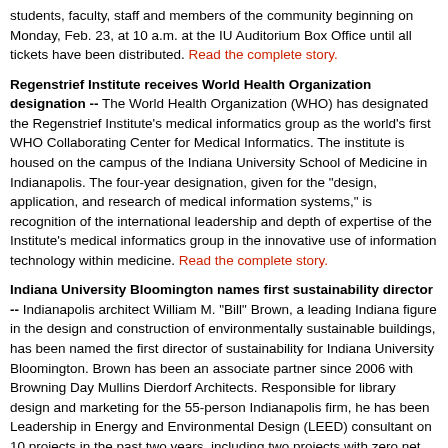students, faculty, staff and members of the community beginning on Monday, Feb. 23, at 10 a.m. at the IU Auditorium Box Office until all tickets have been distributed. Read the complete story.
Regenstrief Institute receives World Health Organization designation -- The World Health Organization (WHO) has designated the Regenstrief Institute's medical informatics group as the world's first WHO Collaborating Center for Medical Informatics. The institute is housed on the campus of the Indiana University School of Medicine in Indianapolis. The four-year designation, given for the "design, application, and research of medical information systems," is recognition of the international leadership and depth of expertise of the Institute's medical informatics group in the innovative use of information technology within medicine. Read the complete story.
Indiana University Bloomington names first sustainability director -- Indianapolis architect William M. "Bill" Brown, a leading Indiana figure in the design and construction of environmentally sustainable buildings, has been named the first director of sustainability for Indiana University Bloomington. Brown has been an associate partner since 2006 with Browning Day Mullins Dierdorf Architects. Responsible for library design and marketing for the 55-person Indianapolis firm, he has been Leadership in Energy and Environmental Design (LEED) consultant on 10 projects in the past two years, including two projects with zero net energy consumption. Read the complete story.
Bloomington couple presented Hoosiers for Higher Education Distinguished Member Award -- Indiana University President Michael A. McRobbie presented the Sue H. Talbot Distinguished HHE Member Award to Community Captains Pat and Ken Shidler of Bloomington, at a ceremony Tuesday in Indianapolis. The presentation was in conjunction with the 18th Annual Hoosiers for Higher Education Statehouse Visit. This award was developed to honor the significant contributions of founding HHE director and current IU Board of Trustee member Sue H. Talbot, who was responsible for the development and execution of the master plan that created one of the very first ... Read the complete story.